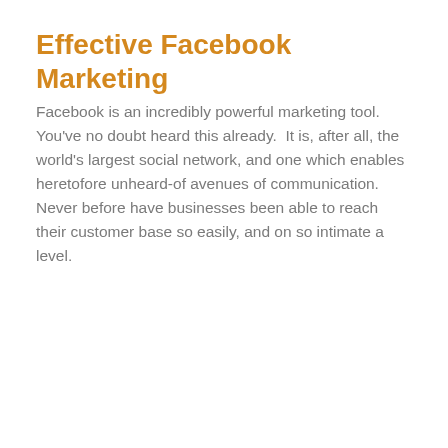Effective Facebook Marketing
Facebook is an incredibly powerful marketing tool. You've no doubt heard this already.  It is, after all, the world's largest social network, and one which enables heretofore unheard-of avenues of communication. Never before have businesses been able to reach their customer base so easily, and on so intimate a level.
[Figure (other): Orange date calendar block showing day 7 and date 03, 2021, with a pen/edit icon below on a grey background]